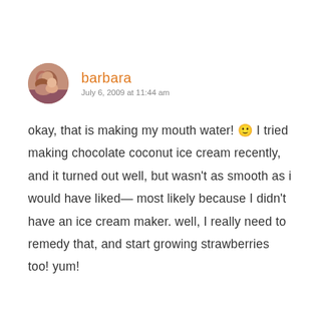[Figure (photo): Circular avatar photo of a woman with a child]
barbara
July 6, 2009 at 11:44 am
okay, that is making my mouth water! 🙂 I tried making chocolate coconut ice cream recently, and it turned out well, but wasn't as smooth as i would have liked— most likely because I didn't have an ice cream maker. well, I really need to remedy that, and start growing strawberries too! yum!